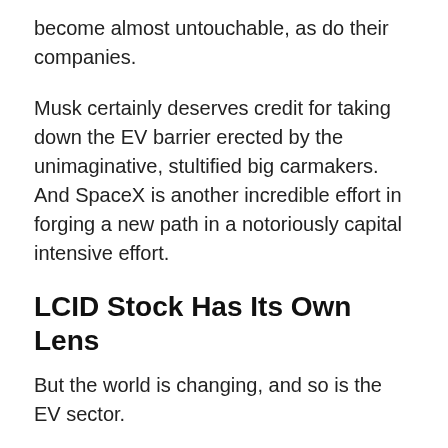become almost untouchable, as do their companies.
Musk certainly deserves credit for taking down the EV barrier erected by the unimaginative, stultified big carmakers. And SpaceX is another incredible effort in forging a new path in a notoriously capital intensive effort.
LCID Stock Has Its Own Lens
But the world is changing, and so is the EV sector.
Unfortunately, most investors still see EVs through the TSLA lens, as though if TSLA isn't doing well, the entire industry is at risk.
That is a completely false narrative. However, despite huge competitors entering the space, that hasn't seemed to cool the ardor of TSLA analysts' glowing expectations